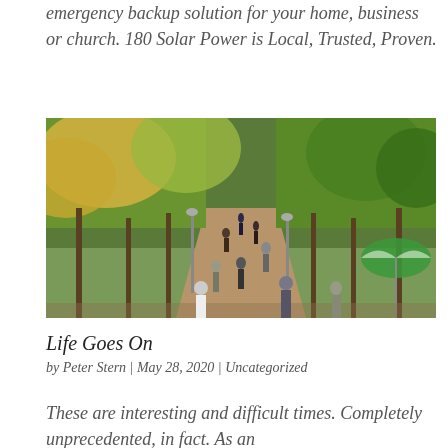emergency backup solution for your home, business or church. 180 Solar Power is Local, Trusted, Proven.
[Figure (photo): People walking along a wide tree-lined path in a park during autumn, with yellow-green foliage overhead, benches on the sides, and a green-and-white striped umbrella on the right.]
Life Goes On
by Peter Stern | May 28, 2020 | Uncategorized
These are interesting and difficult times. Completely unprecedented, in fact. As an